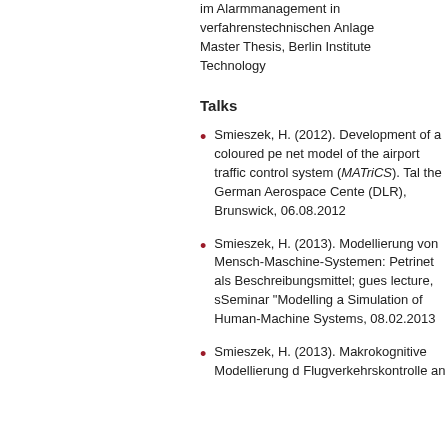im Alarmmanagement in verfahrenstechnischen Anlage... Master Thesis, Berlin Institute Technology
Talks
Smieszek, H. (2012). Development of a coloured pe net model of the airport traffic control system (MATriCS). Tal the German Aerospace Cente (DLR), Brunswick, 06.08.2012
Smieszek, H. (2013). Modellierung von Mensch-Maschine-Systemen: Petrinet als Beschreibungsmittel; gues lecture, sSeminar "Modelling a Simulation of Human-Machine Systems, 08.02.2013
Smieszek, H. (2013). Makrokognitive Modellierung d Flugverkehrskontrolle an